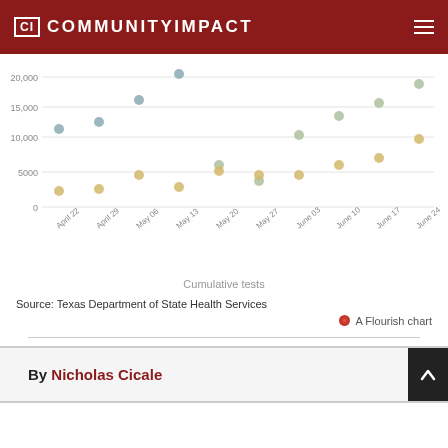CI COMMUNITYIMPACT
[Figure (scatter-plot): Cumulative tests]
Cumulative tests
Source: Texas Department of State Health Services
A Flourish chart
By Nicholas Cicale